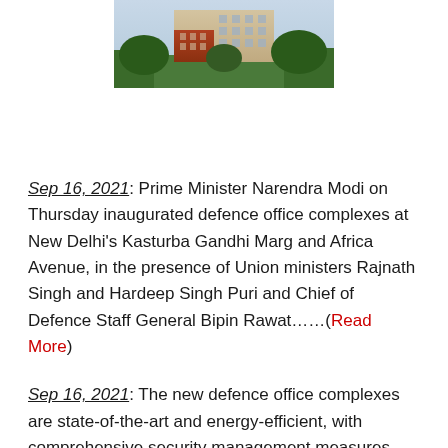[Figure (photo): Aerial or elevated view of a defence office complex building with red brick and beige facade, surrounded by trees]
Sep 16, 2021: Prime Minister Narendra Modi on Thursday inaugurated defence office complexes at New Delhi's Kasturba Gandhi Marg and Africa Avenue, in the presence of Union ministers Rajnath Singh and Hardeep Singh Puri and Chief of Defence Staff General Bipin Rawat……(Read More)
Sep 16, 2021: The new defence office complexes are state-of-the-art and energy-efficient, with comprehensive security management measures. One of the defining features of these buildings is the use of new and sustainable construction technology called LCSE (Light